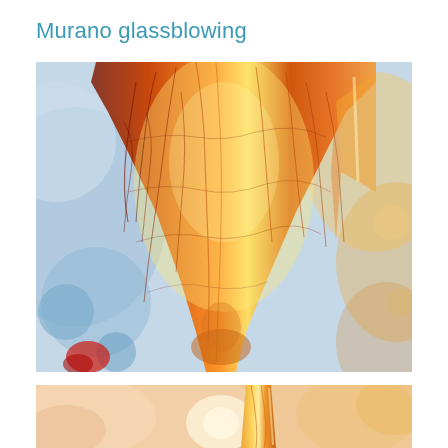Murano glassblowing
[Figure (photo): Close-up photograph of a Murano glass vase with orange, red, and amber tones. The glass surface shows intricate crackling textures with light shining through, set against a blurred blue and white background.]
[Figure (photo): Partial close-up photograph of a Murano glass piece showing amber and orange glass with intricate patterns against a warm peach/salmon blurred background.]